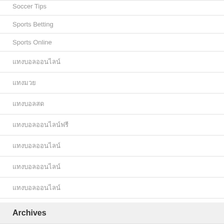Soccer Tips
Sports Betting
Sports Online
แทงบอลออนไลน์
แทงมวย
แทงบอลสด
แทงบอลออนไลน์ฟรี
แทงบอลออนไลน์
แทงบอลออนไลน์
แทงบอลออนไลน์
Archives
June 2022
May 2022